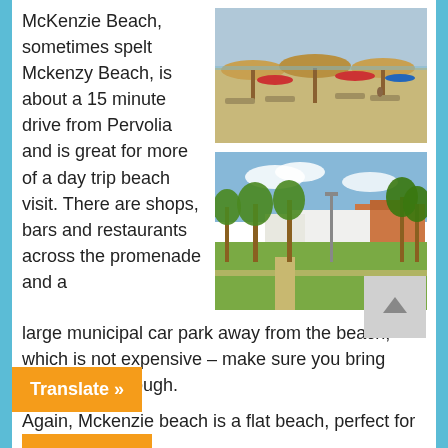McKenzie Beach, sometimes spelt Mckenzy Beach, is about a 15 minute drive from Pervolia and is great for more of a day trip beach visit. There are shops, bars and restaurants across the promenade and a large municipal car park away from the beach, which is not expensive – make sure you bring some coins though.
[Figure (photo): Beach scene with thatched umbrellas and beach chairs on sandy beach, red umbrellas visible in background]
[Figure (photo): Promenade area with palm trees, green lawn, and shops/restaurants buildings in background under blue sky]
Again, Mckenzie beach is a flat beach, perfect for small children. There are also [text cut off] available at the end of the beach with jet